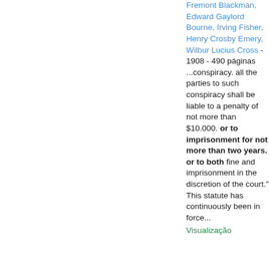Fremont Blackman, Edward Gaylord Bourne, Irving Fisher, Henry Crosby Emery, Wilbur Lucius Cross - 1908 - 490 páginas
...conspiracy. all the parties to such conspiracy shall be liable to a penalty of not more than $10.000. or to imprisonment for not more than two years. or to both fine and imprisonment in the discretion of the court." This statute has continuously been in force...
Visualização